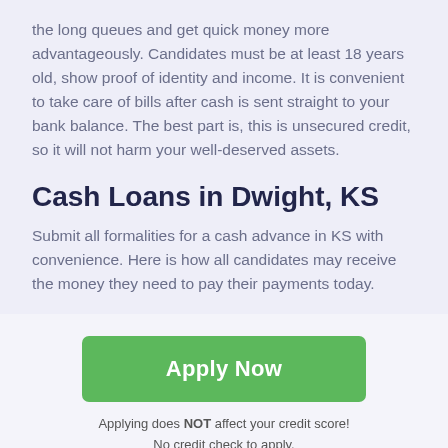the long queues and get quick money more advantageously. Candidates must be at least 18 years old, show proof of identity and income. It is convenient to take care of bills after cash is sent straight to your bank balance. The best part is, this is unsecured credit, so it will not harm your well-deserved assets.
Cash Loans in Dwight, KS
Submit all formalities for a cash advance in KS with convenience. Here is how all candidates may receive the money they need to pay their payments today.
[Figure (other): Green 'Apply Now' button]
Applying does NOT affect your credit score! No credit check to apply.